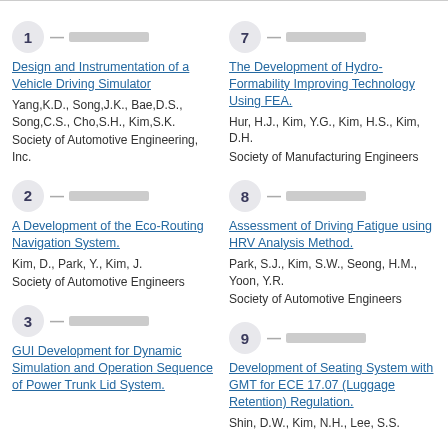1 — [redacted] Design and Instrumentation of a Vehicle Driving Simulator. Yang,K.D., Song,J.K., Bae,D.S., Song,C.S., Cho,S.H., Kim,S.K. Society of Automotive Engineering, Inc.
7 — [redacted] The Development of Hydro-Formability Improving Technology Using FEA. Hur, H.J., Kim, Y.G., Kim, H.S., Kim, D.H. Society of Manufacturing Engineers
2 — [redacted] A Development of the Eco-Routing Navigation System. Kim, D., Park, Y., Kim, J. Society of Automotive Engineers
8 — [redacted] Assessment of Driving Fatigue using HRV Analysis Method. Park, S.J., Kim, S.W., Seong, H.M., Yoon, Y.R. Society of Automotive Engineers
3 — [redacted] GUI Development for Dynamic Simulation and Operation Sequence of Power Trunk Lid System.
9 — [redacted] Development of Seating System with GMT for ECE 17.07 (Luggage Retention) Regulation. Shin, D.W., Kim, N.H., Lee, S.S.